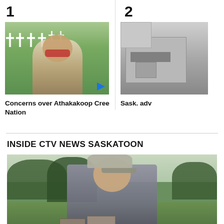[Figure (screenshot): Thumbnail 1: Woman speaking outdoors in front of white crosses at a cemetery, video thumbnail with blue play button]
Concerns over Athakakoop Cree Nation
[Figure (screenshot): Thumbnail 2: Partial view of a building exterior, cropped]
Sask. adv
INSIDE CTV NEWS SASKATOON
[Figure (photo): Older man wearing a cap and sunglasses outdoors in a park with trees in the background]